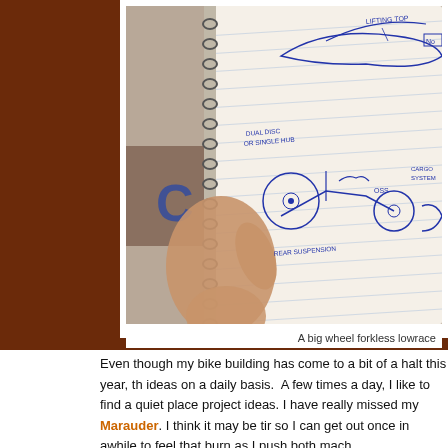[Figure (photo): A hand holding open a spiral notebook with a ballpoint pen sketch of a big wheel forkless lowracer bicycle design. Annotations on sketch include 'LIFTING TOP', 'DUAL DISC OR SINGLE HUB', 'OSS', 'REAR SUSPENSION'. Background shows a Commodore computer logo in blue.]
A big wheel forkless lowrace
Even though my bike building has come to a bit of a halt this year, th ideas on a daily basis.  A few times a day, I like to find a quiet place project ideas. I have really missed my Marauder. I think it may be tir so I can get out once in awhile to feel that burn as I push both mach